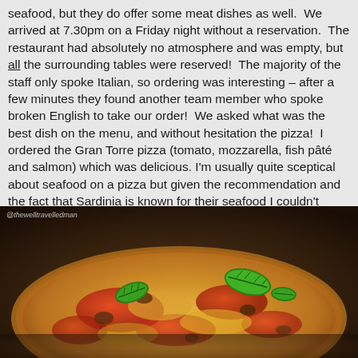seafood, but they do offer some meat dishes as well. We arrived at 7.30pm on a Friday night without a reservation. The restaurant had absolutely no atmosphere and was empty, but all the surrounding tables were reserved! The majority of the staff only spoke Italian, so ordering was interesting – after a few minutes they found another team member who spoke broken English to take our order! We asked what was the best dish on the menu, and without hesitation the pizza! I ordered the Gran Torre pizza (tomato, mozzarella, fish pâté and salmon) which was delicious. I'm usually quite sceptical about seafood on a pizza but given the recommendation and the fact that Sardinia is known for their seafood I couldn't resist! Jenna ordered the Marinara (tomato, garlic, olive oil and added mozzarella). The service was good, although like most European restaurants they do not come around often to check on drinks and I did feel like everyone specifically avoided eye contact with us at the risk of needing to speak English!
[Figure (photo): Close-up photo of a pizza with tomato sauce, melted cheese, and fresh basil leaves on top, with a watermark reading @thewelltravelledman]